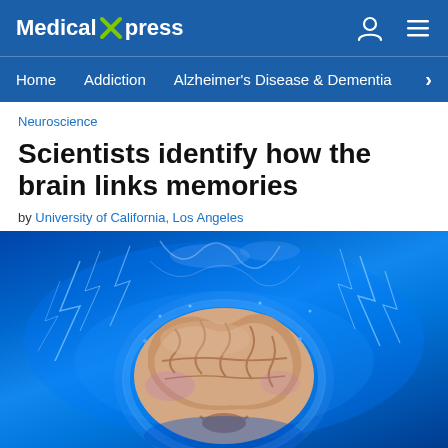Medical Xpress
Home  Addiction  Alzheimer's Disease & Dementia
Neuroscience
Scientists identify how the brain links memories
by University of California, Los Angeles
[Figure (photo): A 3D rendered human brain glowing with blue electrical energy and lightning bolts on a vivid blue background, representing neuroscience and brain activity.]